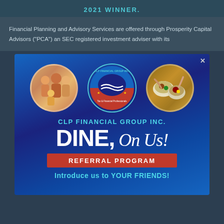2021 WINNER
Financial Planning and Advisory Services are offered through Prosperity Capital Advisors (“PCA”) an SEC registered investment adviser with its
[Figure (infographic): CLP Financial Group Inc. advertisement with blue background featuring three circular images (family, company logo, food), bold text 'DINE, On Us!', red 'REFERRAL PROGRAM' banner, and text 'Introduce us to YOUR FRIENDS!']